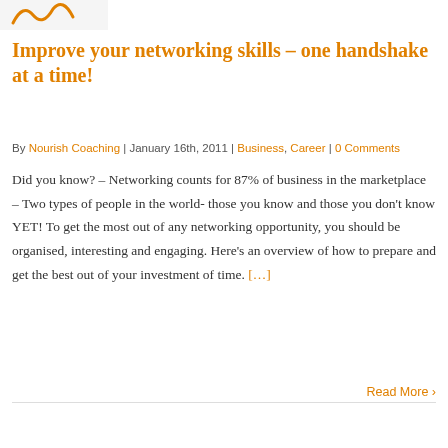[Figure (logo): Partial logo or image in top left corner, orange stylized graphic]
Improve your networking skills – one handshake at a time!
By Nourish Coaching | January 16th, 2011 | Business, Career | 0 Comments
Did you know? – Networking counts for 87% of business in the marketplace – Two types of people in the world- those you know and those you don't know YET! To get the most out of any networking opportunity, you should be organised, interesting and engaging. Here's an overview of how to prepare and get the best out of your investment of time. […]
Read More ›